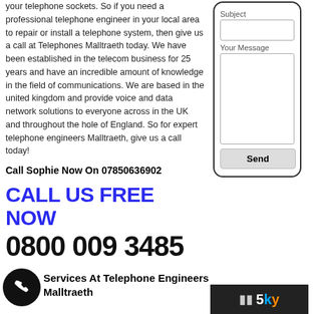your telephone sockets. So if you need a professional telephone engineer in your local area to repair or install a telephone system, then give us a call at Telephones Malltraeth today. We have been established in the telecom business for 25 years and have an incredible amount of knowledge in the field of communications. We are based in the united kingdom and provide voice and data network solutions to everyone across in the UK and throughout the hole of England. So for expert telephone engineers Malltraeth, give us a call today!
Call Sophie Now On 07850636902
CALL US FREE NOW
0800 009 3485
Services At Telephone Engineers Malltraeth
[Figure (screenshot): Contact form widget with Subject field, Your Message textarea, and Send button, inside a rounded border.]
[Figure (screenshot): Sky TV logo on dark background with pause icon.]